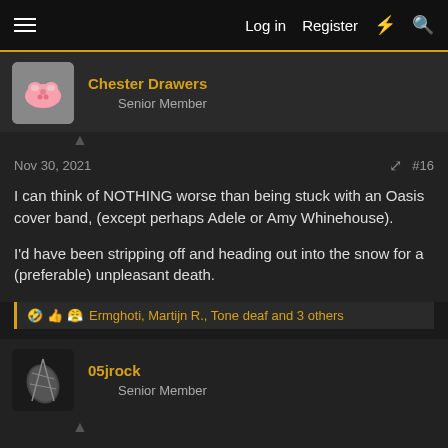Log in  Register
Chester Drawers
Senior Member
Nov 30, 2021  #16
I can think of NOTHING worse than being stuck with an Oasis cover band, (except perhaps Adele or Amy Whinehouse).

I'd have been stripping off and heading out into the snow for a (preferable) unpleasant death.
Ermghoti, Martijn R., Tone deaf and 3 others
05jrock
Senior Member
Nov 30, 2021  #17